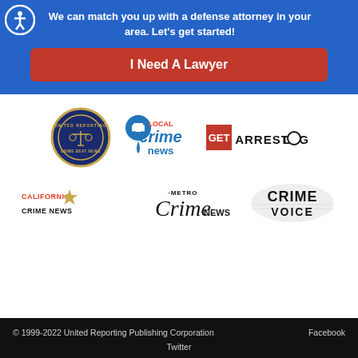We can match you up with a defense attorney in your area. Let's get started!
I Need A Lawyer
[Figure (logo): United Reporting Crime Beat News badge logo]
[Figure (logo): Local Crime News logo with map pin icon]
[Figure (logo): GET ARREST LOGS logo]
[Figure (logo): California Crime News logo with badge]
[Figure (logo): Metro Crime News logo]
[Figure (logo): Crime Voice logo with fingerprint]
© 1999-2022 United Reporting Publishing Corporation    Facebook    Twitter